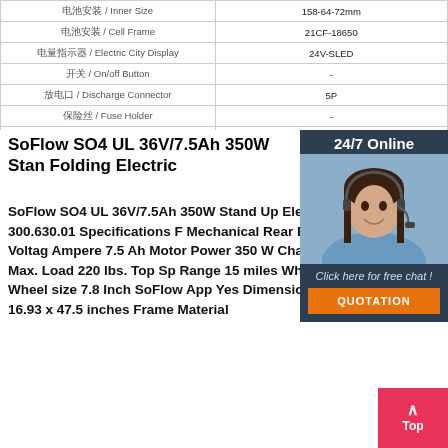| 电池安装 / Inner Size | 158-64-72mm |
| 电池安装 / Cell Frame | 21CF-18650 |
| 电量指示器 / Electric City Display | 24V-SLED |
| 开关 / On/off Button | - |
| 放电口 / Discharge Connector | 5P |
| 保险丝 / Fuse Holder | - |
| 充电口 / Change Connector | DC2.1 |
| USB 接口 / USB | - |
SoFlow SO4 UL 36V/7.5Ah 350W Stan Folding Electric
SoFlow SO4 UL 36V/7.5Ah 350W Stand Up Electric Scooter 300.630.01 Specifications F Mechanical Rear Brakes Mechanical Voltage Ampere 7.5 Ah Motor Power 350 W Charge Weight 27.5 lbs. Max. Load 220 lbs. Top Sp Range 15 miles Wheel Solid rubber Wheel size 7.8 Inch SoFlow App Yes Dimensions (WxHxL) 42.5 x 16.93 x 47.5 inches Frame Material
[Figure (photo): Customer service representative with headset, 24/7 Online chat widget with Click here for free chat and QUOTATION button]